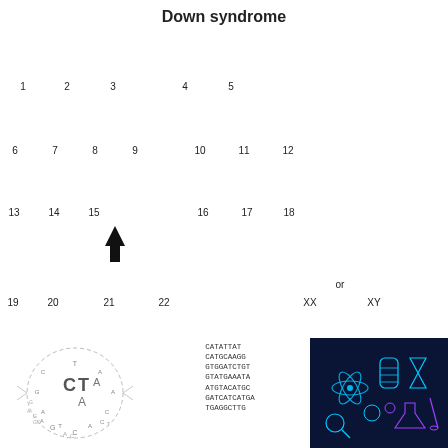Down syndrome
[Figure (illustration): Karyotype diagram showing all human chromosomes (1-22, XX, XY) with three copies of chromosome 21 indicating Down syndrome. Chromosomes shown as stylized black X-shapes with labels. An arrow points to chromosome 21 which has three copies (trisomy 21).]
[Figure (illustration): DNA sequence letters arranged in circular pattern with CT A letters visible in center]
[Figure (illustration): DNA sequence text block with nucleotide letters]
[Figure (illustration): Dark blue scientific/biology icons illustration]